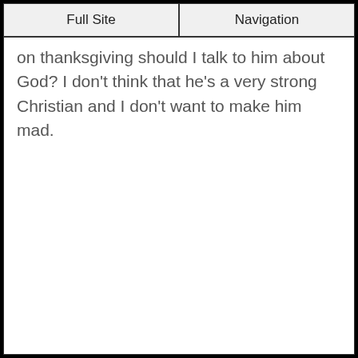Full Site | Navigation
on thanksgiving should I talk to him about God? I don't think that he's a very strong Christian and I don't want to make him mad.